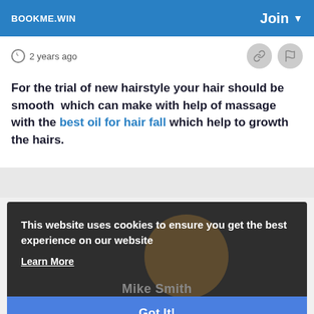BOOKME.WIN  Join
2 years ago
For the trial of new hairstyle your hair should be smooth  which can make with help of massage with the best oil for hair fall which help to growth the hairs.
This website uses cookies to ensure you get the best experience on our website
Learn More
Mike Smith
Got It!
Member
Joined: 2 years ago